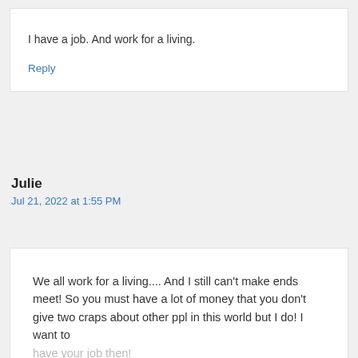I have a job. And work for a living.
Reply
Julie
Jul 21, 2022 at 1:55 PM
We all work for a living.... And I still can't make ends meet! So you must have a lot of money that you don't give two craps about other ppl in this world but I do! I want to have your job then!